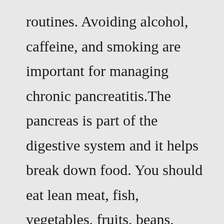routines. Avoiding alcohol, caffeine, and smoking are important for managing chronic pancreatitis.The pancreas is part of the digestive system and it helps break down food. You should eat lean meat, fish, vegetables, fruits, beans, whole grains and other low-fat foods when you are recovering from pancreatitis. Pancreatitis is a condition in which the pancreas develops swelling due to the destruction of the